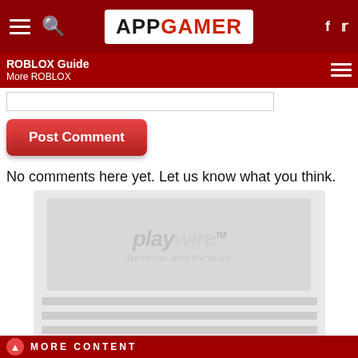APPGAMER
ROBLOX Guide
More ROBLOX
Post Comment
No comments here yet. Let us know what you think.
[Figure (screenshot): Playwire Revenue Amplification advertisement placeholder with loading skeleton bars]
MORE CONTENT